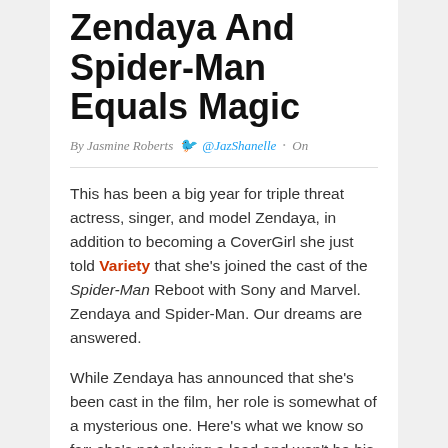Zendaya And Spider-Man Equals Magic
By Jasmine Roberts  @JazShanelle · On
This has been a big year for triple threat actress, singer, and model Zendaya, in addition to becoming a CoverGirl she just told Variety that she's joined the cast of the Spider-Man Reboot with Sony and Marvel. Zendaya and Spider-Man. Our dreams are answered.
While Zendaya has announced that she's been cast in the film, her role is somewhat of a mysterious one. Here's what we know so far: she's not playing a lead and won't be his love interest, but her character will play a bigger part in future installments.
RELATED: Lena Dunham's Stance On Photoshopping Never Bele...